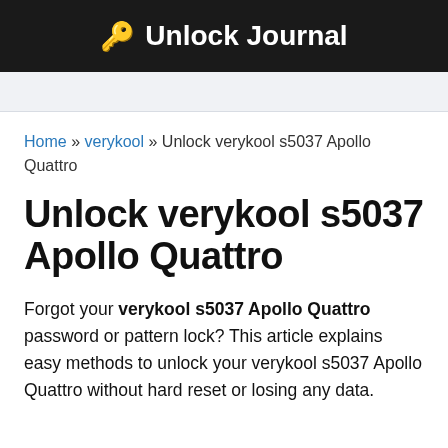🔑 Unlock Journal
Home » verykool » Unlock verykool s5037 Apollo Quattro
Unlock verykool s5037 Apollo Quattro
Forgot your verykool s5037 Apollo Quattro password or pattern lock? This article explains easy methods to unlock your verykool s5037 Apollo Quattro without hard reset or losing any data.